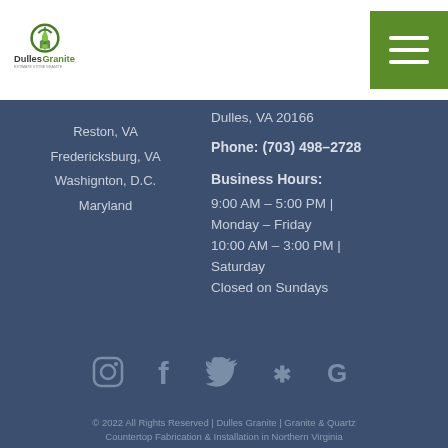[Figure (logo): Dulles Granite logo with stylized house/drop icon and text]
Reston, VA
Fredericksburg, VA
Washignton, D.C.
Maryland
Dulles, VA 20166
Phone: (703) 498-2728
Business Hours:
9:00 AM – 5:00 PM | Monday – Friday
10:00 AM – 3:00 PM | Saturday
Closed on Sundays
[Figure (illustration): Row of social media icons: Instagram, Facebook, Twitter, Yelp, Google]
© 2022 All Rights Reserved | Dulles Granite | Granite & Quartz Countertop Fabrication & Installation in Northern Virginia